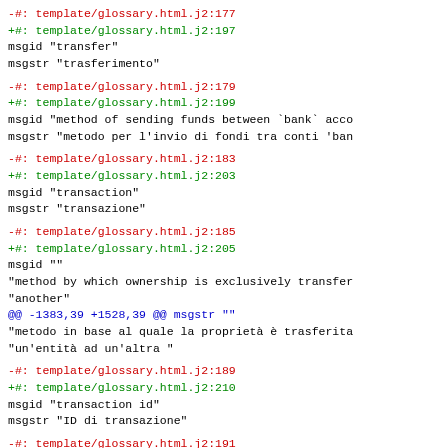-#: template/glossary.html.j2:177
+#: template/glossary.html.j2:197
 msgid "transfer"
 msgstr "trasferimento"
-#: template/glossary.html.j2:179
+#: template/glossary.html.j2:199
 msgid "method of sending funds between `bank` acco
 msgstr "metodo per l'invio di fondi tra conti 'ban
-#: template/glossary.html.j2:183
+#: template/glossary.html.j2:203
 msgid "transaction"
 msgstr "transazione"
-#: template/glossary.html.j2:185
+#: template/glossary.html.j2:205
 msgid ""
 "method by which ownership is exclusively transfer
 "another"
@@ -1383,39 +1528,39 @@ msgstr ""
 "metodo in base al quale la proprietà è trasferita
 "un'entità ad un'altra "
-#: template/glossary.html.j2:189
+#: template/glossary.html.j2:210
 msgid "transaction id"
 msgstr "ID di transazione"
-#: template/glossary.html.j2:191